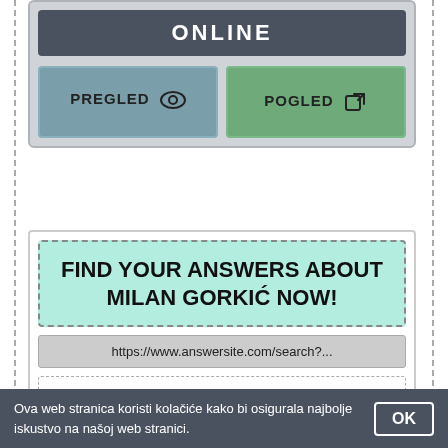ONLINE
PREGLED
POGLED
FIND YOUR ANSWERS ABOUT MILAN GORKIĆ NOW!
https://www.answersite.com/search?...
AnswerSite is a place to get your questions answered. Ask questions and find quality answers on AnswerSite.com
Ova web stranica koristi kolačiće kako bi osigurala najbolje iskustvo na našoj web stranici.